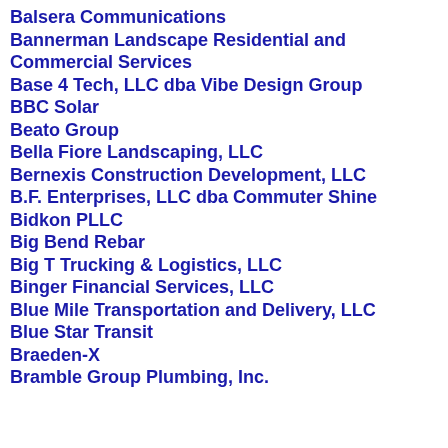Balsera Communications
Bannerman Landscape Residential and Commercial Services
Base 4 Tech, LLC dba Vibe Design Group
BBC Solar
Beato Group
Bella Fiore Landscaping, LLC
Bernexis Construction Development, LLC
B.F. Enterprises, LLC dba Commuter Shine
Bidkon PLLC
Big Bend Rebar
Big T Trucking & Logistics, LLC
Binger Financial Services, LLC
Blue Mile Transportation and Delivery, LLC
Blue Star Transit
Braeden-X
Bramble Group Plumbing, Inc.